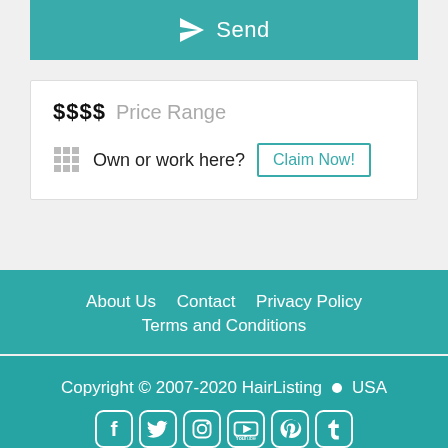Send
$$$$ Price Range
Own or work here? Claim Now!
About Us   Contact   Privacy Policy   Terms and Conditions
Copyright © 2007-2020 HairListing • USA